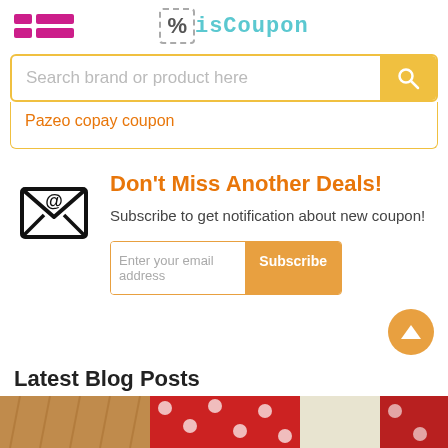isCoupon logo and menu icon
Search brand or product here
Pazeo copay coupon
Don't Miss Another Deals!
Subscribe to get notification about new coupon!
Enter your email address  Subscribe
Latest Blog Posts